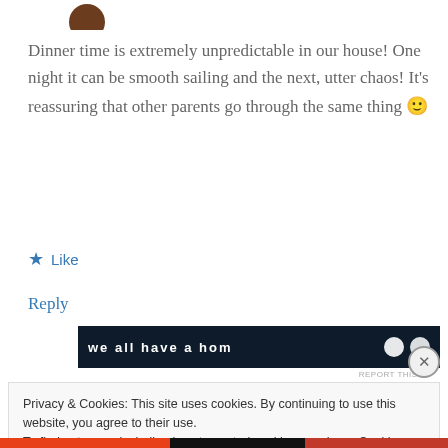[Figure (photo): Partial view of a brown profile photo/avatar at the top of the page]
Dinner time is extremely unpredictable in our house! One night it can be smooth sailing and the next, utter chaos! It's reassuring that other parents go through the same thing 🙂
★ Like
Reply
[Figure (other): Dark advertisement banner with white bold text and white circular icons]
REPORT THIS AD
Privacy & Cookies: This site uses cookies. By continuing to use this website, you agree to their use.
To find out more, including how to control cookies, see here: Cookie Policy
Close and accept